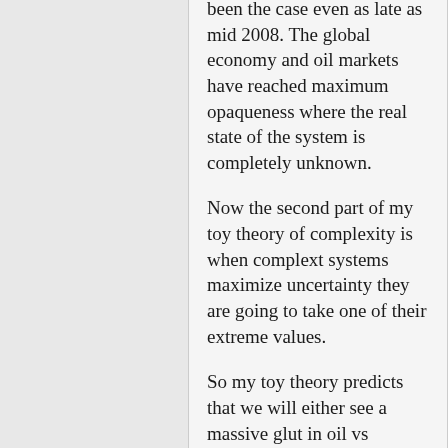been the case even as late as mid 2008. The global economy and oil markets have reached maximum opaqueness where the real state of the system is completely unknown.
Now the second part of my toy theory of complexity is when complext systems maximize uncertainty they are going to take one of their extreme values.
So my toy theory predicts that we will either see a massive glut in oil vs demand and the price of oil will crash or we will see a massive spike. The neat thing is when the complex system hits maximum uncertainty it eliminates all the middle